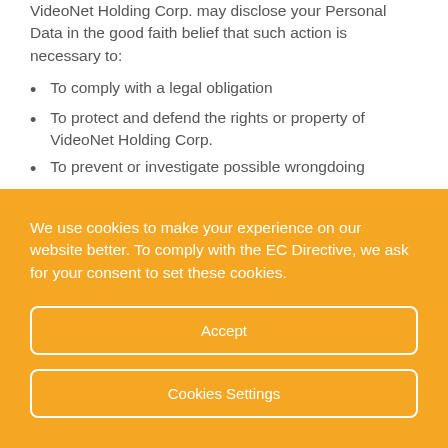VideoNet Holding Corp. may disclose your Personal Data in the good faith belief that such action is necessary to:
To comply with a legal obligation
To protect and defend the rights or property of VideoNet Holding Corp.
To prevent or investigate possible wrongdoing
We use cookies to make your experience on our website better. To comply with the EC Directive, we ask for your consent to set these cookies.
Accept
Cookies Settings